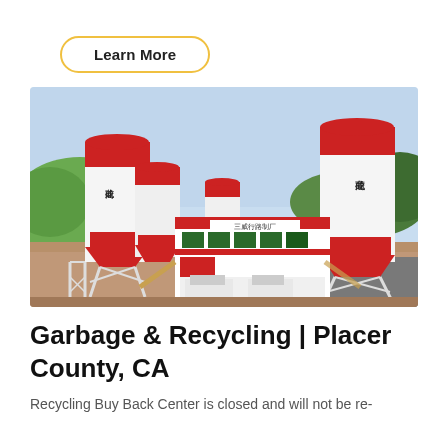Learn More
[Figure (photo): Industrial facility with large red-and-white cylindrical silos labeled with Chinese characters (龙成商砼), a central building with Chinese text, and concrete mixer trucks parked underneath. Construction/industrial site with hills and trees in background.]
Garbage & Recycling | Placer County, CA
Recycling Buy Back Center is closed and will not be re-